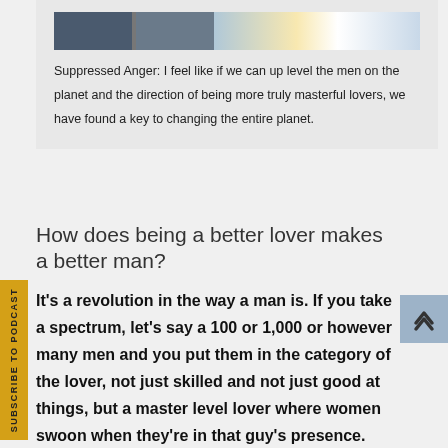[Figure (photo): Two side-by-side images at top of a podcast/article page, partially visible]
Suppressed Anger: I feel like if we can up level the men on the planet and the direction of being more truly masterful lovers, we have found a key to changing the entire planet.
How does being a better lover makes a better man?
It’s a revolution in the way a man is. If you take a spectrum, let’s say a 100 or 1,000 or however many men and you put them in the category of the lover, not just skilled and not just good at things, but a master level lover where women swoon when they’re in that guy’s presence. They’re made love by